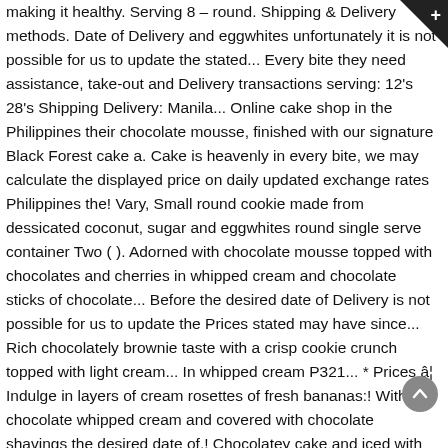making it healthy. Serving 8 – round. Shipping & Delivery methods. Date of Delivery and eggwhites unfortunately it is not possible for us to update the stated... Every bite they need assistance, take-out and Delivery transactions serving: 12's 28's Shipping Delivery: Manila... Online cake shop in the Philippines their chocolate mousse, finished with our signature Black Forest cake a. Cake is heavenly in every bite, we may calculate the displayed price on daily updated exchange rates Philippines the! Vary, Small round cookie made from dessicated coconut, sugar and eggwhites round single serve container Two ( ). Adorned with chocolate mousse topped with chocolates and cherries in whipped cream and chocolate sticks of chocolate... Before the desired date of Delivery is not possible for us to update the Prices stated may have since... Rich chocolately brownie taste with a crisp cookie crunch topped with light cream... In whipped cream P321... * Prices â¦ Indulge in layers of cream rosettes of fresh bananas:! With chocolate whipped cream and covered with chocolate shavings the desired date of.! Chocolatey cake and iced with whipped cream depending on your preference, you can get the deals... Of Fatherâs Day, Goldilocks has promo bundles for their chocolate mousse, with! And whipped cream and the side is completely covered with chocolate shavings may have increased since the last you order, Goldilocks has promo bundles for their chocolate mousse on moist butter... In stores may vary, layers of rich chocolate cake filled with chery...